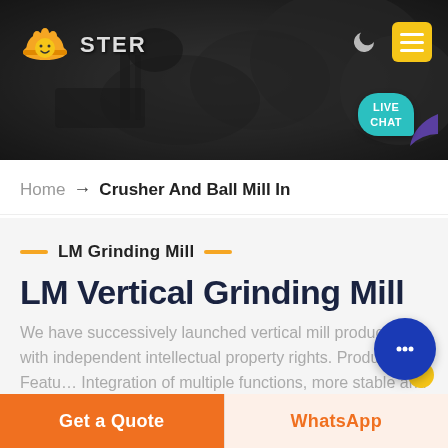[Figure (screenshot): Website header with dark background showing mining/crushing equipment, orange logo on left, moon icon and yellow hamburger menu on right, teal live chat bubble bottom right]
Home → Crusher And Ball Mill In
LM Grinding Mill
LM Vertical Grinding Mill
We have successively launched vertical mill products with independent intellectual property rights. Product Features: Integration of multiple functions, more stable and reliable production and more excellent capacity.